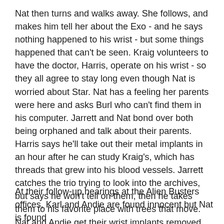Nat then turns and walks away. She follows, and makes him tell her about the Exo - and he says nothing happened to his wrist - but some things happened that can't be seen. Kraig volunteers to have the doctor, Harris, operate on his wrist - so they all agree to stay long even though Nat is worried about Star. Nat has a feeling her parents were here and asks Burl who can't find them in his computer. Jarrett and Nat bond over both being orphaned and talk about their parents. Harris says he'll take out their metal implants in an hour after he can study Kraig's, which has threads that grew into his blood vessels. Jarrett catches the trio trying to look into the archives, but says he won't tell on them, then he takes them to his favorite place with trees that move. Nat and Andie get their wrist implants removed then they're all driven home.
At their follow-up hearings at the Alien Busters offices, Karl and Andie are found innocent but Nat is found